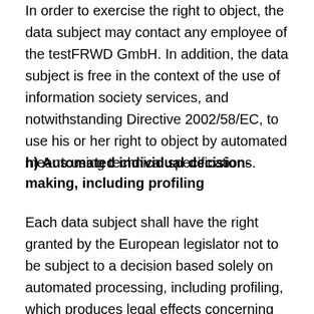In order to exercise the right to object, the data subject may contact any employee of the testFRWD GmbH. In addition, the data subject is free in the context of the use of information society services, and notwithstanding Directive 2002/58/EC, to use his or her right to object by automated means using technical specifications.
h) Automated individual decision-making, including profiling
Each data subject shall have the right granted by the European legislator not to be subject to a decision based solely on automated processing, including profiling, which produces legal effects concerning him or her, or similarly significantly affects him or her, as long as the decision (1) is not is necessary for